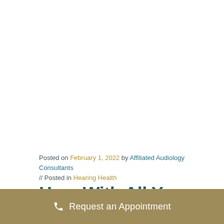Posted on February 1, 2022 by Affiliated Audiology Consultants // Posted in Hearing Health
Hear With All Your Heart
Request an Appointment